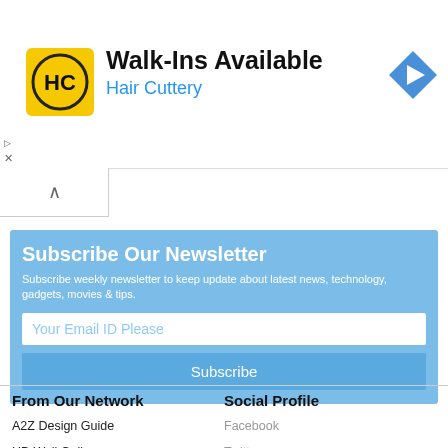[Figure (infographic): Hair Cuttery advertisement banner with HC logo (yellow background, black HC letters), text 'Walk-Ins Available' and 'Hair Cuttery' in blue, with a blue diamond navigation icon on the right]
▷
×
[Figure (screenshot): Collapse/up-arrow button widget]
Subscribe Our Newsletter
Subscribe weekly newsletter to keep update about latest news, technology, gadgets, movies & tips.
Your Email ID Please
Subscribe
From Our Network
Social Profile
A2Z Design Guide
HD Wall Gallery
Facebook
Twitter